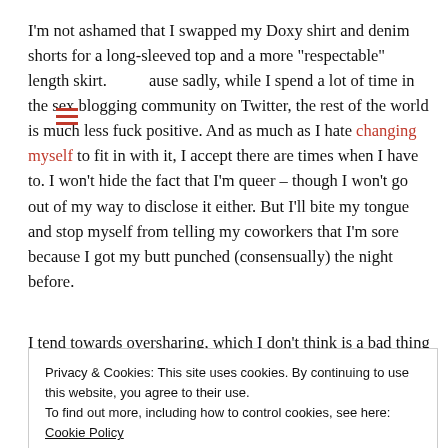I'm not ashamed that I swapped my Doxy shirt and denim shorts for a long-sleeved top and a more “respectable” length skirt. ≡ ause sadly, while I spend a lot of time in the sex blogging community on Twitter, the rest of the world is much less fuck positive. And as much as I hate changing myself to fit in with it, I accept there are times when I have to. I won't hide the fact that I'm queer – though I won't go out of my way to disclose it either. But I'll bite my tongue and stop myself from telling my coworkers that I'm sore because I got my butt punched (consensually) the night before.
I tend towards oversharing, which I don't think is a bad thing for a
Privacy & Cookies: This site uses cookies. By continuing to use this website, you agree to their use.
To find out more, including how to control cookies, see here: Cookie Policy
Close and accept
would be a very bad idea. This is because our society is sex-